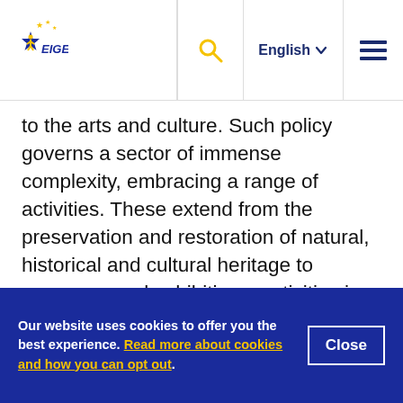EIGE - European Institute for Gender Equality | English
to the arts and culture. Such policy governs a sector of immense complexity, embracing a range of activities. These extend from the preservation and restoration of natural, historical and cultural heritage to museums and exhibitions, activities in the arts (music, theatre, etc.), entertainment, media and e-culture platforms.
Gender aspects are relevant both in relation to the broad definition of culture as a ‘social construction’
Our website uses cookies to offer you the best experience. Read more about cookies and how you can opt out.